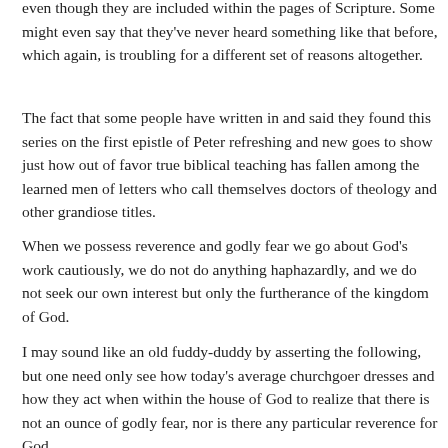even though they are included within the pages of Scripture. Some might even say that they've never heard something like that before, which again, is troubling for a different set of reasons altogether.
The fact that some people have written in and said they found this series on the first epistle of Peter refreshing and new goes to show just how out of favor true biblical teaching has fallen among the learned men of letters who call themselves doctors of theology and other grandiose titles.
When we possess reverence and godly fear we go about God's work cautiously, we do not do anything haphazardly, and we do not seek our own interest but only the furtherance of the kingdom of God.
I may sound like an old fuddy-duddy by asserting the following, but one need only see how today's average churchgoer dresses and how they act when within the house of God to realize that there is not an ounce of godly fear, nor is there any particular reverence for God.